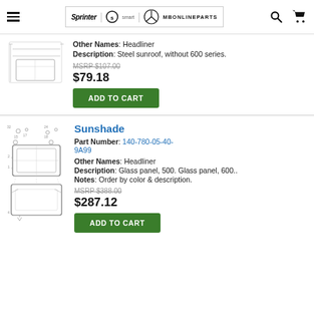MBOnlineParts — Sprinter / Smart / Mercedes-Benz navigation header
Other Names: Headliner
Description: Steel sunroof, without 600 series.
MSRP $107.00
$79.18
ADD TO CART
Sunshade
Part Number: 140-780-05-40-9A99
Other Names: Headliner
Description: Glass panel, 500. Glass panel, 600.
Notes: Order by color & description.
MSRP $388.00
$287.12
ADD TO CART